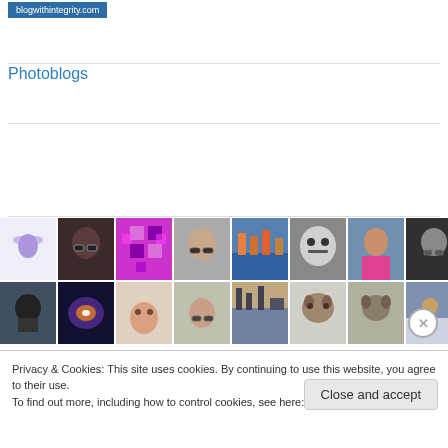[Figure (logo): blogwithintegrity.com blue banner badge]
Photoblogs
[Figure (photo): Grid of photoblog avatar thumbnails arranged in two rows of eight photos each]
Privacy & Cookies: This site uses cookies. By continuing to use this website, you agree to their use.
To find out more, including how to control cookies, see here: Cookie Policy
Close and accept